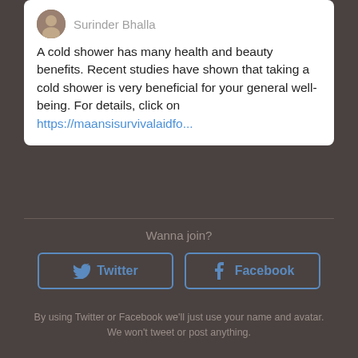[Figure (screenshot): Tweet card showing user avatar and username 'Surinder Bhalla' with tweet text about cold shower health benefits and a link]
A cold shower has many health and beauty benefits. Recent studies have shown that taking a cold shower is very beneficial for your general well-being. For details, click on https://maansisurvivalaidfo...
Wanna join?
Twitter
Facebook
By using Twitter or Facebook we'll just use your name and avatar. We won't tweet or post anything.
META
Register
Log in